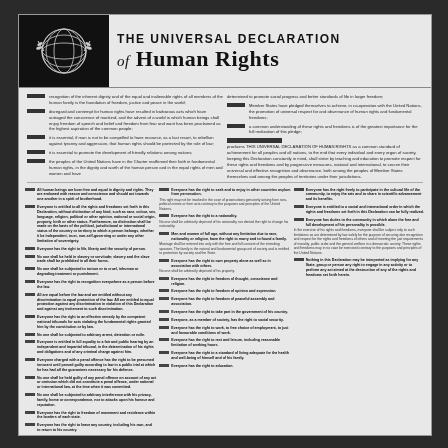[Figure (logo): United Nations emblem — white globe and olive branches on black background]
THE UNIVERSAL DECLARATION of Human Rights
Whereas recognition of the inherent dignity and of the equal and inalienable rights of all members of the human family is the foundation of freedom, justice and peace in the world;
Whereas disregard and contempt for human rights have resulted in barbarous acts which have outraged the conscience of mankind, and the advent of a world in which human beings shall enjoy freedom of speech and belief and freedom from fear and want has been proclaimed as the highest aspiration of the common people;
Whereas it is essential, if man is not to be compelled to have recourse, as a last resort, to rebellion against tyranny and oppression, that human rights should be protected by the rule of law;
Whereas it is essential to promote the development of friendly relations among nations;
Whereas the peoples of the United Nations have in the Charter reaffirmed their faith in fundamental human rights, in the dignity and worth of the human person and in the equal rights of men and women and have determined to promote social progress and better standards of life in larger freedom;
Whereas Member States have pledged themselves to achieve, in co-operation with the United Nations, the promotion of universal respect for and observance of human rights and fundamental freedoms;
Whereas a common understanding of these rights and freedoms is of the greatest importance for the full realization of this pledge;
Now, Therefore THE GENERAL ASSEMBLY proclaims THIS UNIVERSAL DECLARATION OF HUMAN RIGHTS as a common standard of achievement for all peoples and all nations, to the end that every individual and every organ of society, keeping this Declaration constantly in mind, shall strive by teaching and education to promote respect for these rights and freedoms and by progressive measures, national and international, to secure their universal and effective recognition and observance, both among the peoples of Member States themselves and among the peoples of territories under their jurisdiction.